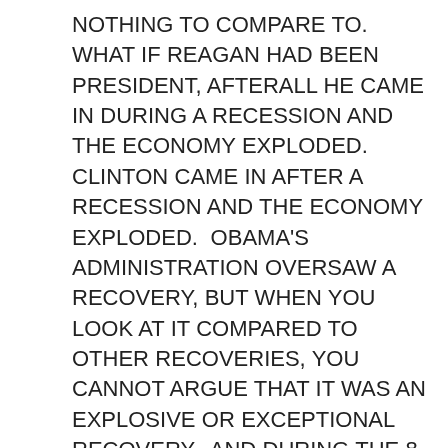NOTHING TO COMPARE TO.  WHAT IF REAGAN HAD BEEN PRESIDENT, AFTERALL HE CAME IN DURING A RECESSION AND THE ECONOMY EXPLODED.  CLINTON CAME IN AFTER A RECESSION AND THE ECONOMY EXPLODED.  OBAMA'S ADMINISTRATION OVERSAW A RECOVERY, BUT WHEN YOU LOOK AT IT COMPARED TO OTHER RECOVERIES, YOU CANNOT ARGUE THAT IT WAS AN EXPLOSIVE OR EXCEPTIONAL RECOVERY.  AND DURING THE 8 YEARS OF HIS ADMINISTRATION HIS HIGHEST YEAR OF GROWTH WAS 2.6%… and his average growth rate was a meager 1.5%.  THE LOWEST OF ANY PRESIDENT SINCE WW2 and worse than Jimmy Carter and GW Bush. ANOTHER BAROMETER OF THE ECONOMY IS DEBT TO GDP RATIO.  THE